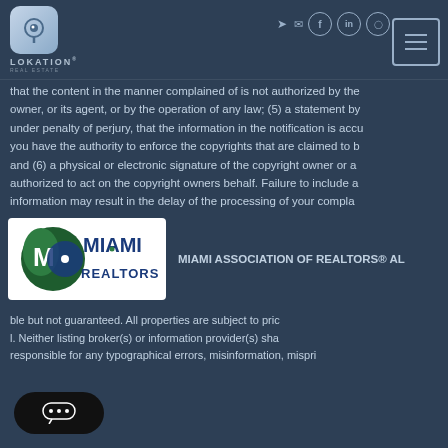[Figure (logo): Lokation Real Estate logo with location pin icon and text LOKATION REAL ESTATE]
[Figure (infographic): Navigation icons: login arrow, email envelope, Facebook, LinkedIn, Instagram circles, and hamburger menu button]
that the content in the manner complained of is not authorized by the owner, or its agent, or by the operation of any law; (5) a statement by under penalty of perjury, that the information in the notification is accu you have the authority to enforce the copyrights that are claimed to b and (6) a physical or electronic signature of the copyright owner or a authorized to act on the copyright owners behalf. Failure to include a information may result in the delay of the processing of your compla
[Figure (logo): Miami Association of Realtors logo - circular green and blue design with MIAMI REALTORS text]
MIAMI ASSOCIATION OF REALTORS® AL
ble but not guaranteed. All properties are subject to pric l. Neither listing broker(s) or information provider(s) sha responsible for any typographical errors, misinformation, mispri